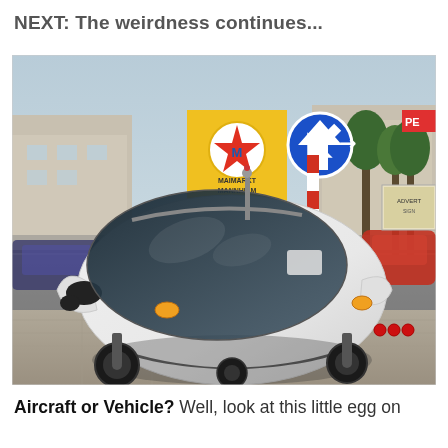NEXT: The weirdness continues...
[Figure (photo): A white egg-shaped three-wheeled vehicle parked on a city sidewalk. The vehicle has a large tinted bubble canopy, small side fins, orange turn signals, three red lights on the rear, and tiny wheels. In the background there is a city street with signs including a yellow Maimarkt Mannheim banner and a blue directional road sign.]
Aircraft or Vehicle? Well, look at this little egg on